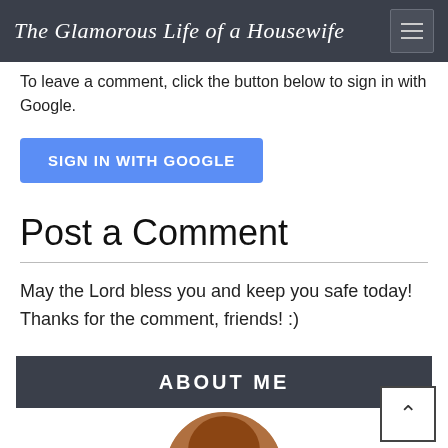The Glamorous Life of a Housewife
To leave a comment, click the button below to sign in with Google.
SIGN IN WITH GOOGLE
Post a Comment
May the Lord bless you and keep you safe today! Thanks for the comment, friends! :)
ABOUT ME
[Figure (photo): Circular profile photo of a woman with long auburn/red wavy hair, looking at the camera with a slight smile.]